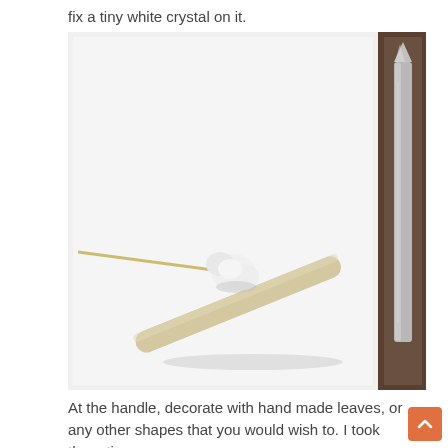fix a tiny white crystal on it.
[Figure (photo): A cotton swab or craft stick with a white clay or dough knot/shape tied near the top end, lying on a white surface. To the right, a metal tweezers or pick tool is visible. The photo shows a DIY craft step.]
At the handle, decorate with hand made leaves, or any other shapes that you would wish to. I took three tiny